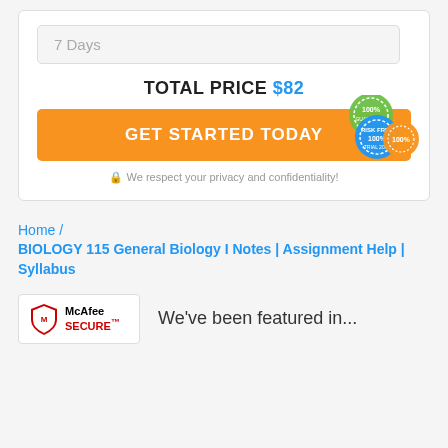7 Days
TOTAL PRICE $82
GET STARTED TODAY
[Figure (illustration): Three overlapping circular badge/seal icons showing '100%' in green, blue, and orange]
🔒 We respect your privacy and confidentiality!
Home / BIOLOGY 115 General Biology I Notes | Assignment Help | Syllabus
[Figure (logo): McAfee SECURE logo with shield icon in red and black]
We've been featured in...